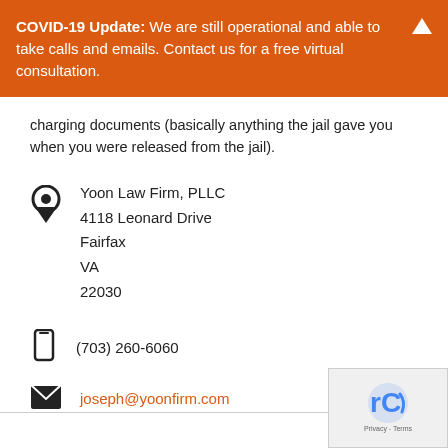COVID-19 Update: We are still operational and able to take calls and emails. Contact us for a free virtual consultation.
charging documents (basically anything the jail gave you when you were released from the jail).
Yoon Law Firm, PLLC
4118 Leonard Drive
Fairfax
VA
22030
(703) 260-6060
joseph@yoonfirm.com